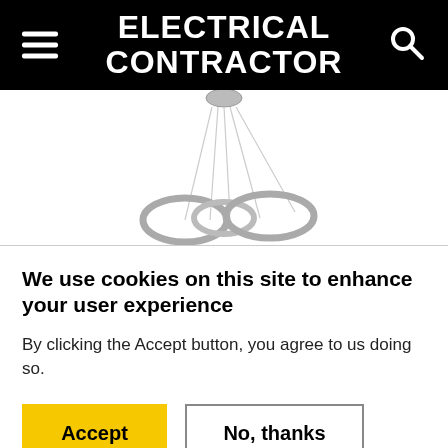ELECTRICAL CONTRACTOR
[Figure (photo): Pendant chandelier light fixture with circular chrome rings hanging from thin cables against a white background]
We use cookies on this site to enhance your user experience
By clicking the Accept button, you agree to us doing so.
Accept | No, thanks